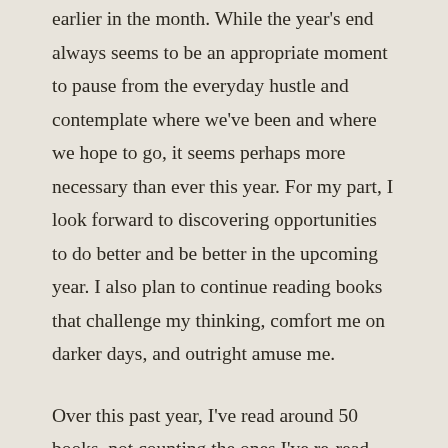earlier in the month. While the year's end always seems to be an appropriate moment to pause from the everyday hustle and contemplate where we've been and where we hope to go, it seems perhaps more necessary than ever this year. For my part, I look forward to discovering opportunities to do better and be better in the upcoming year. I also plan to continue reading books that challenge my thinking, comfort me on darker days, and outright amuse me.
Over this past year, I've read around 50 books, not counting the ones I've re-read both for a certain youngster's bedtime or my own pleasure. I picked my top notable reads because they contained fascinating stories, some imagined and some true, that resonated with me long after I read them. Most (though not all) became blog posts (links to posts are provided). And